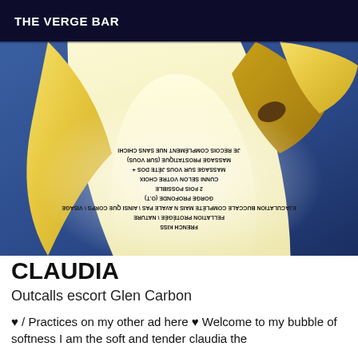THE VERGE BAR
[Figure (photo): Close-up photo of a peeled banana against a blue background, with mirrored/upside-down French text overlay listing escort services]
CLAUDIA
Outcalls escort Glen Carbon
♥ / Practices on my other ad here ♥ Welcome to my bubble of softness I am the soft and tender claudia the